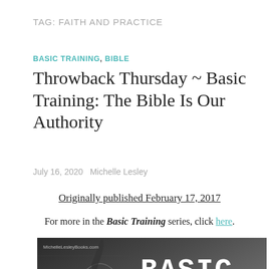TAG: FAITH AND PRACTICE
BASIC TRAINING, BIBLE
Throwback Thursday ~ Basic Training: The Bible Is Our Authority
July 16, 2020   Michelle Lesley
Originally published February 17, 2017
For more in the Basic Training series, click here.
[Figure (photo): Promotional image for 'Basic Training: The Bible' series showing a Roman soldier helmet in the background with white bold text reading 'BASIC TRAINING: THE BIBLE' and watermark 'MichelleLesleyBooks.com']